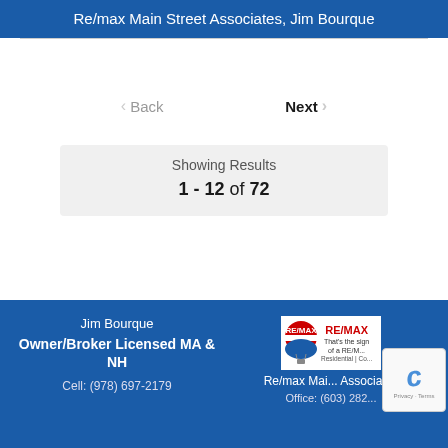Re/max Main Street Associates, Jim Bourque
‹ Back     Next ›
Showing Results
1 - 12 of 72
Jim Bourque
Owner/Broker Licensed MA & NH
Cell: (978) 697-2179
[Figure (logo): RE/MAX logo with balloon and tagline 'That's the sign of a RE/M... Residential | Co...']
Re/max Mai... Associates
Office: (603) 282...